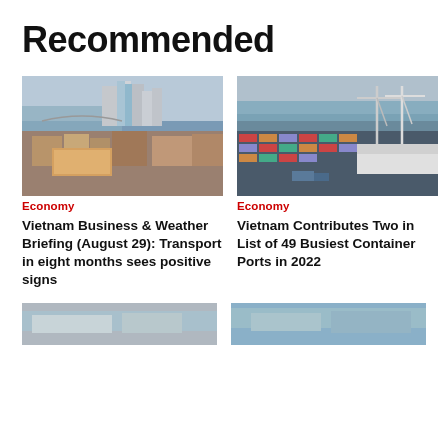Recommended
[Figure (photo): Aerial view of Ho Chi Minh City skyline with river and buildings under construction]
Economy
Vietnam Business & Weather Briefing (August 29): Transport in eight months sees positive signs
[Figure (photo): Aerial view of a busy container port with cranes and cargo ships]
Economy
Vietnam Contributes Two in List of 49 Busiest Container Ports in 2022
[Figure (photo): Partial view of a building, bottom left]
[Figure (photo): Partial view of a port or waterfront, bottom right]